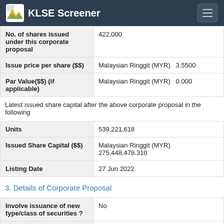KLSE Screener
| Field | Value |
| --- | --- |
| No. of shares issued under this corporate proposal | 422,000 |
| Issue price per share ($$) | Malaysian Ringgit (MYR)   3.5500 |
| Par Value($$) (if applicable) | Malaysian Ringgit (MYR)   0.000 |
Latest issued share capital after the above corporate proposal in the following
| Field | Value |
| --- | --- |
| Units | 539,221,618 |
| Issued Share Capital ($$) | Malaysian Ringgit (MYR) 275,448,478.310 |
| Listing Date | 27 Jun 2022 |
3. Details of Corporate Proposal
| Field | Value |
| --- | --- |
| Involve issuance of new type/class of securities ? | No |
| Types of corporate | ESOS |